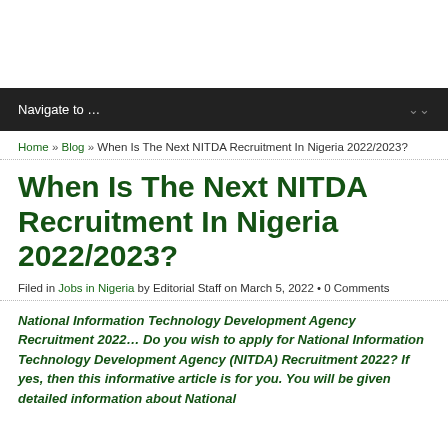Navigate to …
Home » Blog » When Is The Next NITDA Recruitment In Nigeria 2022/2023?
When Is The Next NITDA Recruitment In Nigeria 2022/2023?
Filed in Jobs in Nigeria by Editorial Staff on March 5, 2022 • 0 Comments
National Information Technology Development Agency Recruitment 2022… Do you wish to apply for National Information Technology Development Agency (NITDA) Recruitment 2022? If yes, then this informative article is for you. You will be given detailed information about National